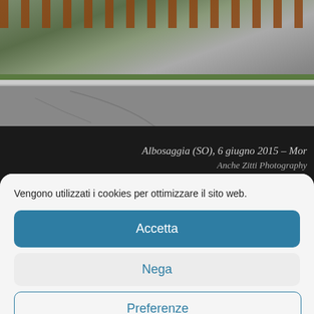[Figure (photo): Aerial or overhead view of a road/path with green vegetation on the side and wooden railing visible at top. Dark banner overlay with Italian caption text.]
Albosaggia (SO), 6 giugno 2015 – Mor
Anche Zitti Photography
Vengono utilizzati i cookies per ottimizzare il sito web.
Accetta
Nega
Preferenze
Cookie Policy  Privacy Policy